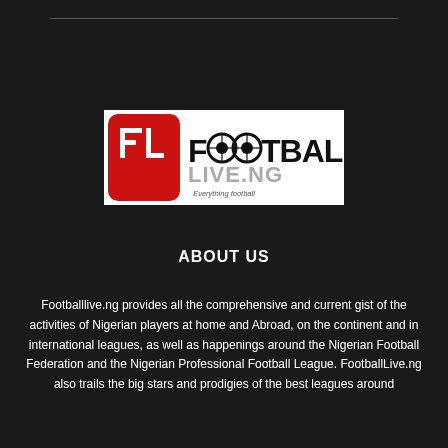[Figure (logo): FootballLive.ng logo — red rounded-square icon with white 'FL' letters on the left, and 'FOOTBALL' in black bold text with football icons replacing the 'O's, 'LIVE.NG' in gray below, and 'Everything football' tagline at the bottom center, all on a white background.]
ABOUT US
Footballlive.ng provides all the comprehensive and current gist of the activities of Nigerian players at home and Abroad, on the continent and in international leagues, as well as happenings around the Nigerian Football Federation and the Nigerian Professional Football League. FootballLive.ng also trails the big stars and prodigies of the best leagues around